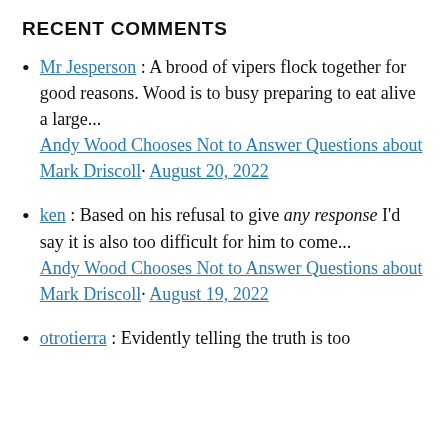RECENT COMMENTS
Mr Jesperson : A brood of vipers flock together for good reasons. Wood is to busy preparing to eat alive a large... Andy Wood Chooses Not to Answer Questions about Mark Driscoll · August 20, 2022
ken : Based on his refusal to give any response I'd say it is also too difficult for him to come... Andy Wood Chooses Not to Answer Questions about Mark Driscoll · August 19, 2022
otrotierra : Evidently telling the truth is too...